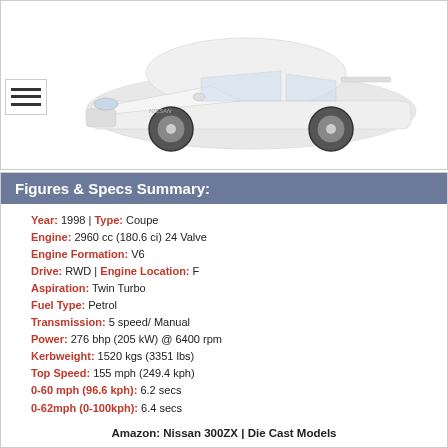[Figure (photo): White Nissan 300ZX coupe photographed from front-left angle on white background]
Figures & Specs Summary:
Year: 1998 | Type: Coupe
Engine: 2960 cc (180.6 ci) 24 Valve
Engine Formation: V6
Drive: RWD | Engine Location: F
Aspiration: Twin Turbo
Fuel Type: Petrol
Transmission: 5 speed/ Manual
Power: 276 bhp (205 kW) @ 6400 rpm
Kerbweight: 1520 kgs (3351 lbs)
Top Speed: 155 mph (249.4 kph)
0-60 mph (96.6 kph): 6.2 secs
0-62mph (0-100kph): 6.4 secs
Amazon: Nissan 300ZX | Die Cast Models